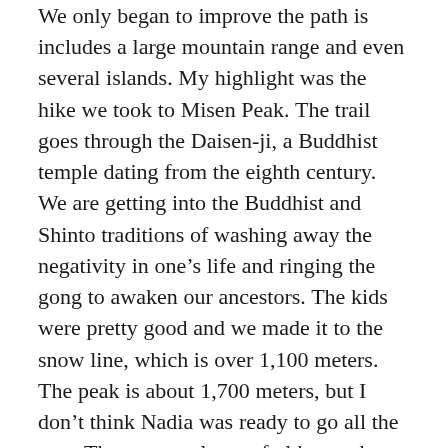includes a large mountain range and even several islands. My highlight was the hike we took to Misen Peak. The trail goes through the Daisen-ji, a Buddhist temple dating from the eighth century. We are getting into the Buddhist and Shinto traditions of washing away the negativity in one’s life and ringing the gong to awaken our ancestors. The kids were pretty good and we made it to the snow line, which is over 1,100 meters. The peak is about 1,700 meters, but I don’t think Nadia was ready to go all the way. There were plenty of old growth trees and spectacular views of the snow-capped peaks. It was great to get away from the crowds of urban Japan as there were only a handful of people on the trail. The mountain is called a “mini-Mount Fuji” and is so far our favorite place in Japan. The fall